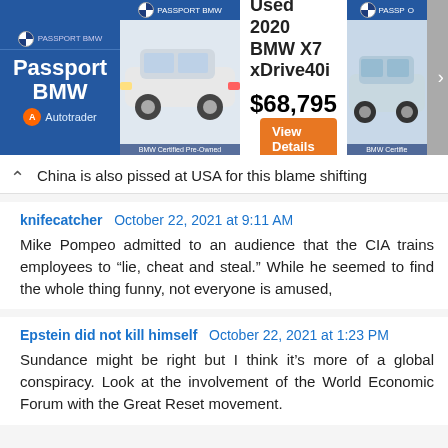[Figure (screenshot): Passport BMW advertisement banner from Autotrader showing a Used 2020 BMW X7 xDrive40i for $68,795 with a View Details button and car photos]
China is also pissed at USA for this blame shifting
knifecatcher  October 22, 2021 at 9:11 AM
Mike Pompeo admitted to an audience that the CIA trains employees to “lie, cheat and steal.” While he seemed to find the whole thing funny, not everyone is amused,
Epstein did not kill himself  October 22, 2021 at 1:23 PM
Sundance might be right but I think it’s more of a global conspiracy. Look at the involvement of the World Economic Forum with the Great Reset movement.